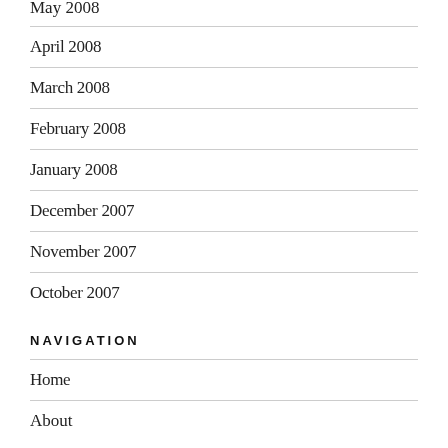May 2008
April 2008
March 2008
February 2008
January 2008
December 2007
November 2007
October 2007
NAVIGATION
Home
About